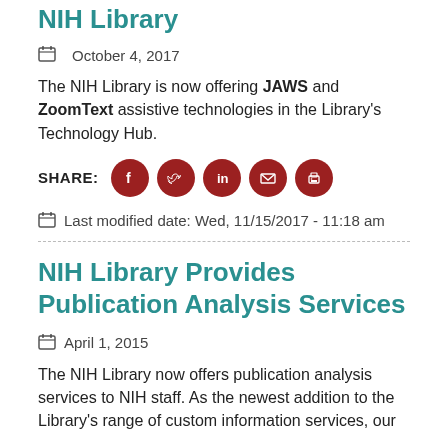NIH Library
October 4, 2017
The NIH Library is now offering JAWS and ZoomText assistive technologies in the Library's Technology Hub.
[Figure (infographic): SHARE row with social media icons: Facebook, Twitter, LinkedIn, Email, Print]
Last modified date: Wed, 11/15/2017 - 11:18 am
NIH Library Provides Publication Analysis Services
April 1, 2015
The NIH Library now offers publication analysis services to NIH staff. As the newest addition to the Library's range of custom information services, our